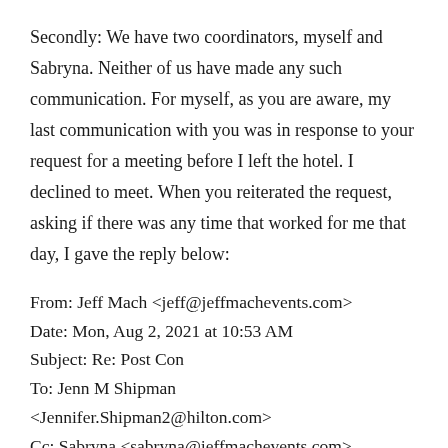Secondly: We have two coordinators, myself and Sabryna. Neither of us have made any such communication. For myself, as you are aware, my last communication with you was in response to your request for a meeting before I left the hotel. I declined to meet. When you reiterated the request, asking if there was any time that worked for me that day, I gave the reply below:
From: Jeff Mach <jeff@jeffmachevents.com>
Date: Mon, Aug 2, 2021 at 10:53 AM
Subject: Re: Post Con
To: Jenn M Shipman <Jennifer.Shipman2@hilton.com>
Cc: Sabryna <sabryna@jeffmachevents.com>
There will not be a time today when I'm not far too